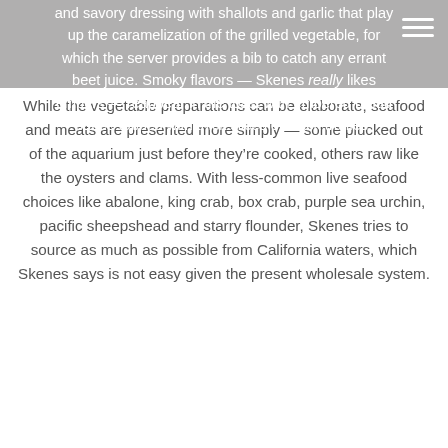and savory dressing with shallots and garlic that play up the caramelization of the grilled vegetable, for which the server provides a bib to catch any errant beet juice. Smoky flavors — Skenes really likes embers — reappear in the toast with embered bread sauce topped with thick slices of black truffles.
While the vegetable preparations can be elaborate, seafood and meats are presented more simply — some plucked out of the aquarium just before they're cooked, others raw like the oysters and clams. With less-common live seafood choices like abalone, king crab, box crab, purple sea urchin, pacific sheepshead and starry flounder, Skenes tries to source as much as possible from California waters, which Skenes says is not easy given the present wholesale system.